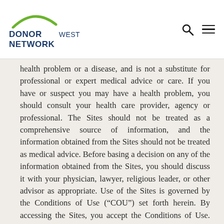DONOR NETWORK WEST
health problem or a disease, and is not a substitute for professional or expert medical advice or care. If you have or suspect you may have a health problem, you should consult your health care provider, agency or professional. The Sites should not be treated as a comprehensive source of information, and the information obtained from the Sites should not be treated as medical advice. Before basing a decision on any of the information obtained from the Sites, you should discuss it with your physician, lawyer, religious leader, or other advisor as appropriate. Use of the Sites is governed by the Conditions of Use (“COU”) set forth herein. By accessing the Sites, you accept the Conditions of Use. Donor